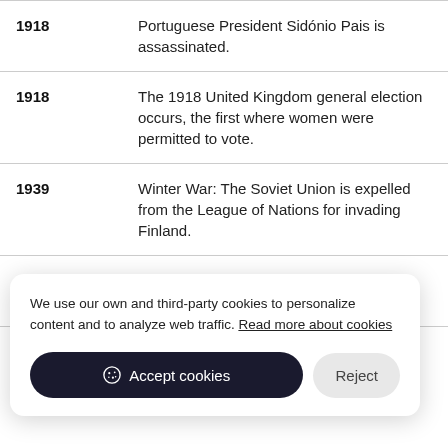| Year | Event |
| --- | --- |
| 1918 | Portuguese President Sidónio Pais is assassinated. |
| 1918 | The 1918 United Kingdom general election occurs, the first where women were permitted to vote. |
| 1939 | Winter War: The Soviet Union is expelled from the League of Nations for invading Finland. |
| 1940 | Plutonium (specifically Pu-238) is first isolated at Berkeley, California. |
|  | Ceylon, Finland, Hungary, Ireland, Italy |
We use our own and third-party cookies to personalize content and to analyze web traffic. Read more about cookies
Accept cookies | Reject